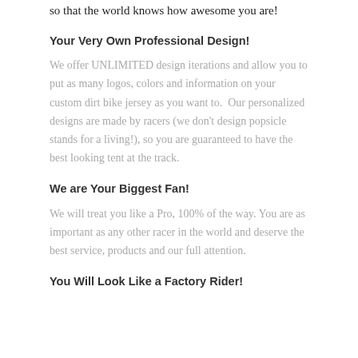so that the world knows how awesome you are!
Your Very Own Professional Design!
We offer UNLIMITED design iterations and allow you to put as many logos, colors and information on your custom dirt bike jersey as you want to.  Our personalized designs are made by racers (we don’t design popsicle stands for a living!), so you are guaranteed to have the best looking tent at the track.
We are Your Biggest Fan!
We will treat you like a Pro, 100% of the way. You are as important as any other racer in the world and deserve the best service, products and our full attention.
You Will Look Like a Factory Rider!